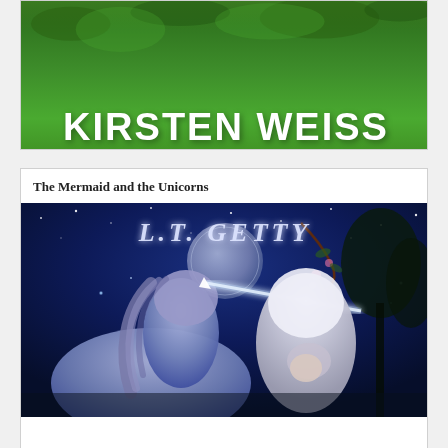[Figure (illustration): Book cover or banner for Kirsten Weiss showing stylized white text 'KIRSTEN WEISS' on a green grassy background]
The Mermaid and the Unicorns
[Figure (illustration): Book cover for 'The Mermaid and the Unicorns' by L.T. Getty showing a white unicorn and a hooded figure against a dark blue moonlit fantasy background with sparkles and trees]